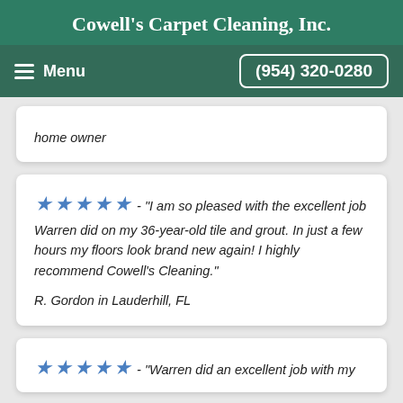Cowell's Carpet Cleaning, Inc.
Menu  (954) 320-0280
home owner
★★★★★ - "I am so pleased with the excellent job Warren did on my 36-year-old tile and grout. In just a few hours my floors look brand new again! I highly recommend Cowell's Cleaning."
R. Gordon in Lauderhill, FL
★★★★★ - "Warren did an excellent job with my